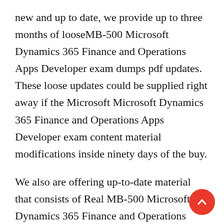new and up to date, we provide up to three months of looseMB-500 Microsoft Dynamics 365 Finance and Operations Apps Developer exam dumps pdf updates. These loose updates could be supplied right away if the Microsoft Microsoft Dynamics 365 Finance and Operations Apps Developer exam content material modifications inside ninety days of the buy.
We also are offering up-to-date material that consists of Real MB-500 Microsoft Dynamics 365 Finance and Operations Apps Developer questions and answers. If you're seeking out the best Microsoft Dynamics 365 Finance and Operations Apps Developer exam dumps pdf, you then definitely need to recollect the use of our